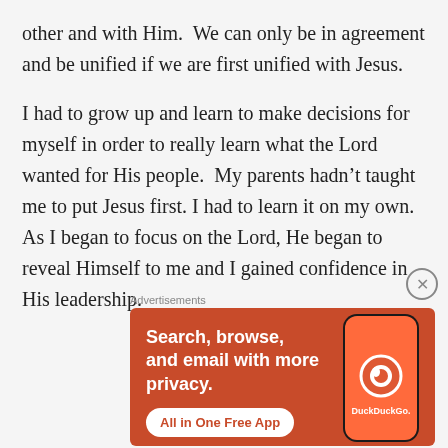other and with Him.  We can only be in agreement and be unified if we are first unified with Jesus.
I had to grow up and learn to make decisions for myself in order to really learn what the Lord wanted for His people.  My parents hadn't taught me to put Jesus first. I had to learn it on my own. As I began to focus on the Lord, He began to reveal Himself to me and I gained confidence in His leadership.
[Figure (other): DuckDuckGo advertisement banner showing 'Search, browse, and email with more privacy. All in One Free App' with a smartphone image displaying the DuckDuckGo logo on an orange background.]